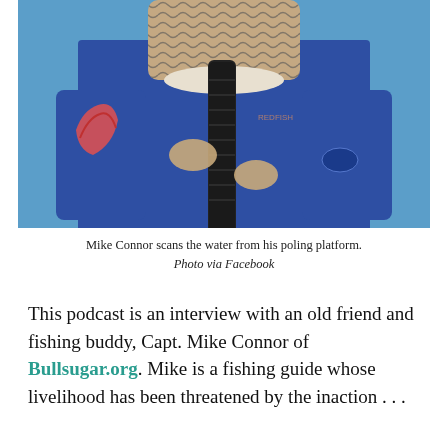[Figure (photo): A man wearing a blue long-sleeve fishing shirt and a patterned neck gaiter/face covering, gripping a black pole or rod with both hands against a clear blue sky background. The shirt has a logo on the chest and a red graphic on the left sleeve.]
Mike Connor scans the water from his poling platform. Photo via Facebook
This podcast is an interview with an old friend and fishing buddy, Capt. Mike Connor of Bullsugar.org. Mike is a fishing guide whose livelihood has been threatened by the inaction . . .